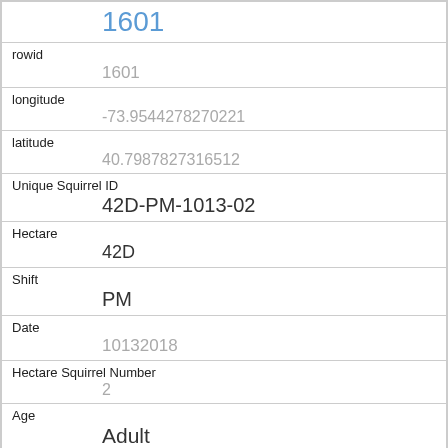1601
rowid
1601
longitude
-73.9544278270221
latitude
40.7987827316512
Unique Squirrel ID
42D-PM-1013-02
Hectare
42D
Shift
PM
Date
10132018
Hectare Squirrel Number
2
Age
Adult
Primary Fur Color